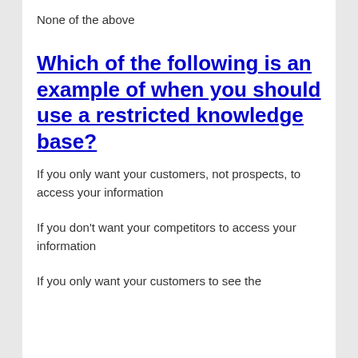None of the above
Which of the following is an example of when you should use a restricted knowledge base?
If you only want your customers, not prospects, to access your information
If you don't want your competitors to access your information
If you only want your customers to see the